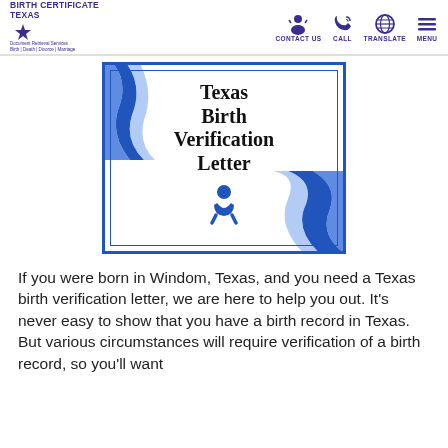Birth Certificate Texas | CONTACT US | CALL | TRANSLATE | MENU
[Figure (illustration): Texas Birth Verification Letter certificate illustration with blue ribbons and baby icon]
If you were born in Windom, Texas, and you need a Texas birth verification letter, we are here to help you out. It's never easy to show that you have a birth record in Texas. But various circumstances will require verification of a birth record, so you'll want